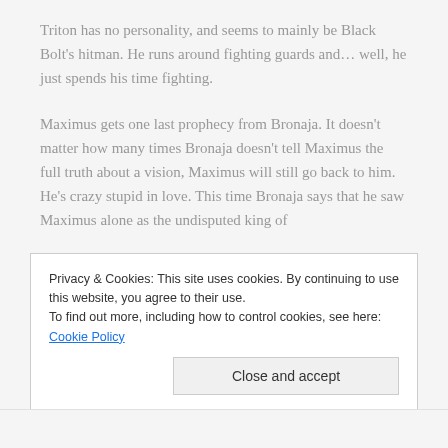Triton has no personality, and seems to mainly be Black Bolt's hitman. He runs around fighting guards and… well, he just spends his time fighting.
Maximus gets one last prophecy from Bronaja. It doesn't matter how many times Bronaja doesn't tell Maximus the full truth about a vision, Maximus will still go back to him. He's crazy stupid in love. This time Bronaja says that he saw Maximus alone as the undisputed king of
Privacy & Cookies: This site uses cookies. By continuing to use this website, you agree to their use.
To find out more, including how to control cookies, see here: Cookie Policy
Close and accept